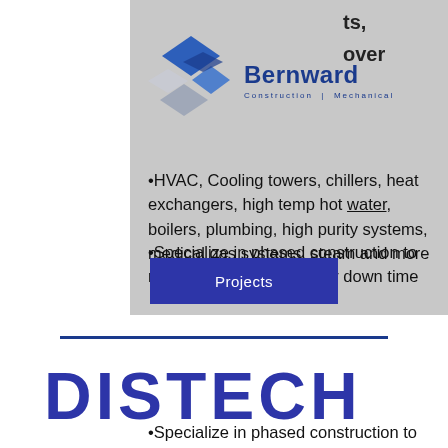[Figure (logo): Bernward Construction | Mechanical logo with diamond shapes in blue and gray]
ts, over
•HVAC, Cooling towers, chillers, heat exchangers, high temp hot water, boilers, plumbing, high purity systems, medical gas systems, steam and more
•Specialize in phased construction to reduce or eliminate facility down time
Projects
DISTECH